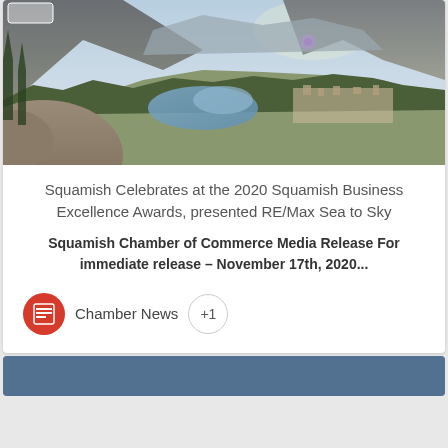[Figure (photo): Aerial landscape photo of Squamish area showing mountains, river estuary, trees and town in the valley below with hazy sky]
Squamish Celebrates at the 2020 Squamish Business Excellence Awards, presented RE/Max Sea to Sky
Squamish Chamber of Commerce Media Release For immediate release – November 17th, 2020...
Chamber News +1
[Figure (photo): Partial view of another image/article at bottom of page]